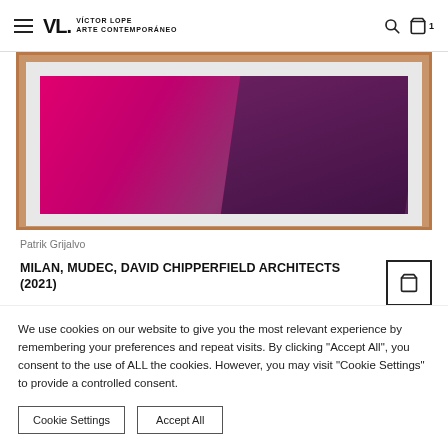Víctor Lope Arte Contemporáneo
[Figure (photo): Framed artwork by Patrik Grijalvo showing geometric pink/magenta and dark purple tones inside a wooden frame, partially cropped at top]
Patrik Grijalvo
MILAN, MUDEC, DAVID CHIPPERFIELD ARCHITECTS (2021)
We use cookies on our website to give you the most relevant experience by remembering your preferences and repeat visits. By clicking "Accept All", you consent to the use of ALL the cookies. However, you may visit "Cookie Settings" to provide a controlled consent.
Cookie Settings
Accept All